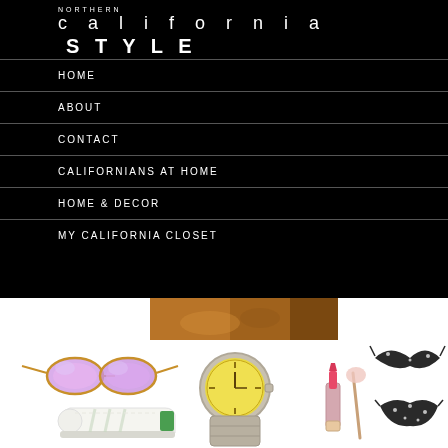NORTHERN california STYLE
HOME
ABOUT
CONTACT
CALIFORNIANS AT HOME
HOME & DECOR
MY CALIFORNIA CLOSET
[Figure (photo): Partial photo showing hands or objects with warm brown tones]
[Figure (illustration): Product collage: purple/pink mirrored aviator sunglasses, green/white Adidas Stan Smith sneakers, yellow Rolex watch, pink/gold lipstick and makeup brush, black polka-dot bikini set]